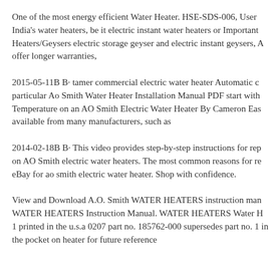One of the most energy efficient Water Heater. HSE-SDS-006, User India's water heaters, be it electric instant water heaters or Important Heaters/Geysers electric storage geyser and electric instant geysers, A offer longer warranties,
2015-05-11B B· tamer commercial electric water heater Automatic c particular Ao Smith Water Heater Installation Manual PDF start with Temperature on an AO Smith Electric Water Heater By Cameron Eas available from many manufacturers, such as
2014-02-18B B· This video provides step-by-step instructions for rep on AO Smith electric water heaters. The most common reasons for re eBay for ao smith electric water heater. Shop with confidence.
View and Download A.O. Smith WATER HEATERS instruction man WATER HEATERS Instruction Manual. WATER HEATERS Water H 1 printed in the u.s.a 0207 part no. 185762-000 supersedes part no. 1 in the pocket on heater for future reference